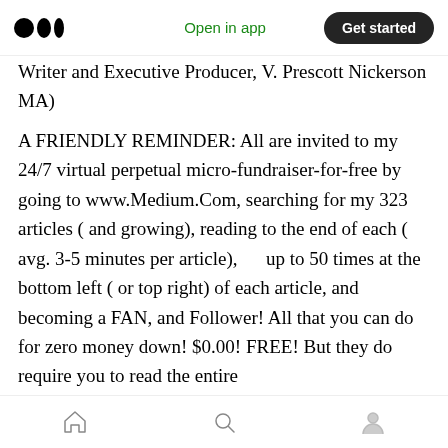Medium app header — Open in app | Get started
Writer and Executive Producer, V. Prescott Nickerson MA)
A FRIENDLY REMINDER: All are invited to my 24/7 virtual perpetual micro-fundraiser-for-free by going to www.Medium.Com, searching for my 323 articles ( and growing), reading to the end of each ( avg. 3-5 minutes per article),      up to 50 times at the bottom left ( or top right) of each article, and becoming a FAN, and Follower! All that you can do for zero money down! $0.00! FREE! But they do require you to read the entire
Home | Search | Profile